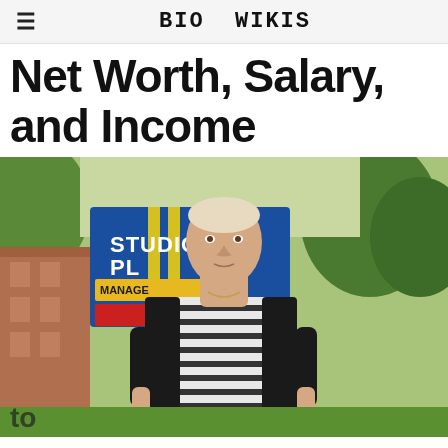BIO WIKIS
Net Worth, Salary, and Income
[Figure (photo): A woman with blonde hair pulled back, wearing a black cardigan over a black and white striped dress, walking outdoors. Behind her is a blue sign reading 'Studio Plaza' with 'Managed' visible. Trees and a building are in the background.]